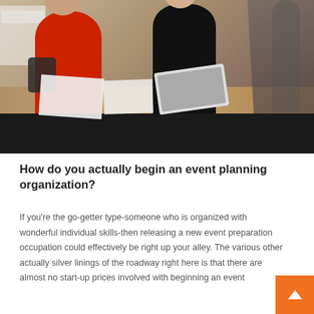[Figure (photo): A photo of people at an event. A person wearing a red sweater is on the left, interacting with another person in dark clothing on the right, across a black-tablecloth-covered table with a white laptop and papers. Background shows other event attendees and a patterned floor.]
How do you actually begin an event planning organization?
If you're the go-getter type-someone who is organized with wonderful individual skills-then releasing a new event preparation occupation could effectively be right up your alley. The various other actually silver linings of the roadway right here is that there are almost no start-up prices involved with beginning an event